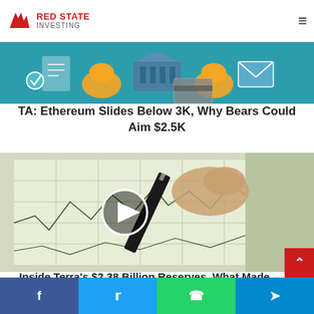Red State Investing
[Figure (illustration): Illustration showing hands interacting with financial/banking icons including a bank building, document, credit card, and envelope on a teal/blue background]
TA: Ethereum Slides Below 3K, Why Bears Could Aim $2.5K
[Figure (photo): Photo of a hand holding a pen writing on a financial chart/graph showing exchange rate data, with a video play button overlay in the center]
Inside Terra's $2.38 Billion Reserves, What Made The Lineup?